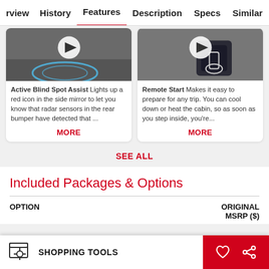rview  History  Features  Description  Specs  Similar
[Figure (screenshot): Video thumbnail showing Active Blind Spot Assist feature with play button overlay, gray car door side mirror scene]
Active Blind Spot Assist Lights up a red icon in the side mirror to let you know that radar sensors in the rear bumper have detected that ...
MORE
[Figure (screenshot): Video thumbnail showing Remote Start feature with play button overlay, hand holding phone near car]
Remote Start Makes it easy to prepare for any trip. You can cool down or heat the cabin, so as soon as you step inside, you're...
MORE
SEE ALL
Included Packages & Options
| OPTION | ORIGINAL MSRP ($) |
| --- | --- |